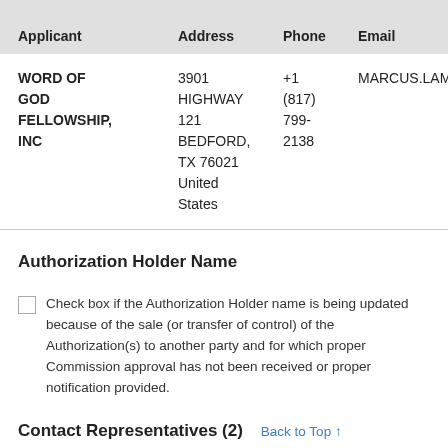| Applicant | Address | Phone | Email |
| --- | --- | --- | --- |
| WORD OF GOD FELLOWSHIP, INC | 3901 HIGHWAY 121 BEDFORD, TX 76021 United States | +1 (817) 799-2138 | MARCUS.LAMB@DAYSTAR.CO |
Authorization Holder Name
Check box if the Authorization Holder name is being updated because of the sale (or transfer of control) of the Authorization(s) to another party and for which proper Commission approval has not been received or proper notification provided.
Contact Representatives (2)
Back to Top ↑